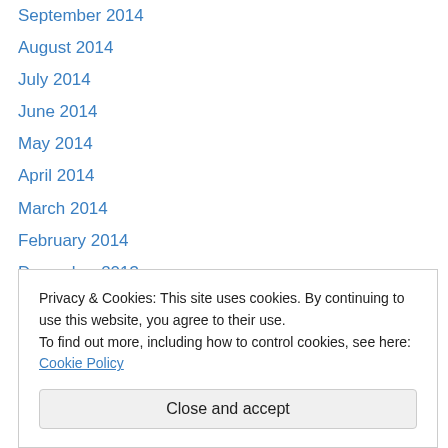September 2014
August 2014
July 2014
June 2014
May 2014
April 2014
March 2014
February 2014
December 2013
November 2013
October 2013
September 2013
August 2013
Privacy & Cookies: This site uses cookies. By continuing to use this website, you agree to their use.
To find out more, including how to control cookies, see here: Cookie Policy
December 2012